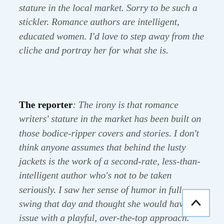bodice ripper post isn't going to help her stature in the local market. Sorry to be such a stickler. Romance authors are intelligent, educated women. I'd love to step away from the cliche and portray her for what she is.
The reporter: The irony is that romance writers' stature in the market has been built on those bodice-ripper covers and stories. I don't think anyone assumes that behind the lusty jackets is the work of a second-rate, less-than-intelligent author who's not to be taken seriously. I saw her sense of humor in full swing that day and thought she would have no issue with a playful, over-the-top approach. Unless you have another idea, I guess we can move forward with